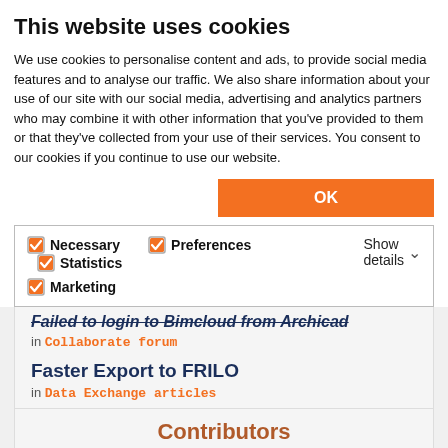This website uses cookies
We use cookies to personalise content and ads, to provide social media features and to analyse our traffic. We also share information about your use of our site with our social media, advertising and analytics partners who may combine it with other information that you've provided to them or that they've collected from your use of their services. You consent to our cookies if you continue to use our website.
OK
Necessary  Preferences  Statistics  Marketing  Show details
Failed to login to Bimcloud from Archicad
in Collaborate forum
Faster Export to FRILO
in Data Exchange articles
Contributors